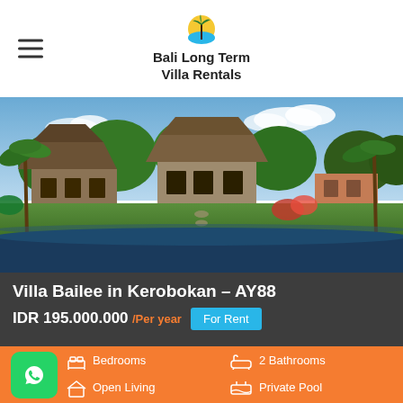Bali Long Term Villa Rentals
[Figure (photo): Exterior view of a Balinese villa with thatched roof buildings surrounded by tropical greenery and palm trees, with a large dark-bottomed swimming pool in the foreground]
Villa Bailee in Kerobokan – AY88
IDR 195.000.000 /Per year   For Rent
Bedrooms   2 Bathrooms   Open Living   Private Pool